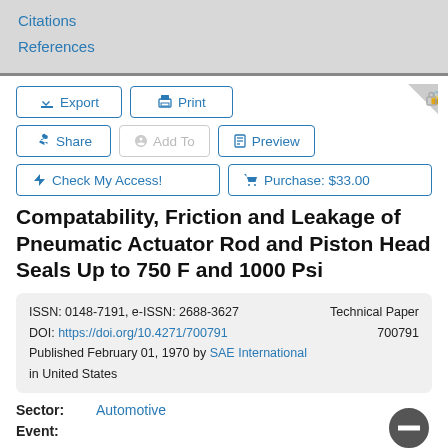Citations
References
[Figure (screenshot): UI buttons: Export, Print, Share, Add To, Preview, Check My Access!, Purchase: $33.00]
Compatability, Friction and Leakage of Pneumatic Actuator Rod and Piston Head Seals Up to 750 F and 1000 Psi
| ISSN: 0148-7191, e-ISSN: 2688-3627 | Technical Paper |
| DOI: https://doi.org/10.4271/700791 | 700791 |
| Published February 01, 1970 by SAE International in United States |  |
Sector: Automotive
Event: